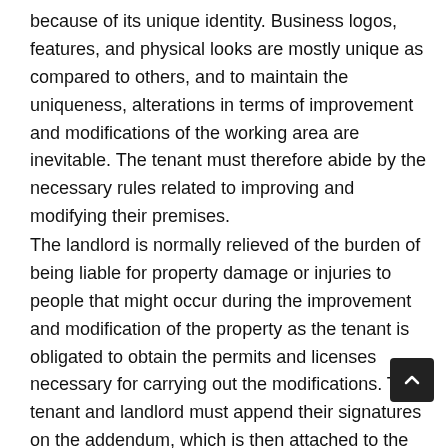because of its unique identity. Business logos, features, and physical looks are mostly unique as compared to others, and to maintain the uniqueness, alterations in terms of improvement and modifications of the working area are inevitable. The tenant must therefore abide by the necessary rules related to improving and modifying their premises.
The landlord is normally relieved of the burden of being liable for property damage or injuries to people that might occur during the improvement and modification of the property as the tenant is obligated to obtain the permits and licenses necessary for carrying out the modifications. The tenant and landlord must append their signatures on the addendum, which is then attached to the original lease agreement. Before entering into the agreement, it is crucial for the landlord and tenant to first understand the S[tate] Laws applied in governing commercial leases in their